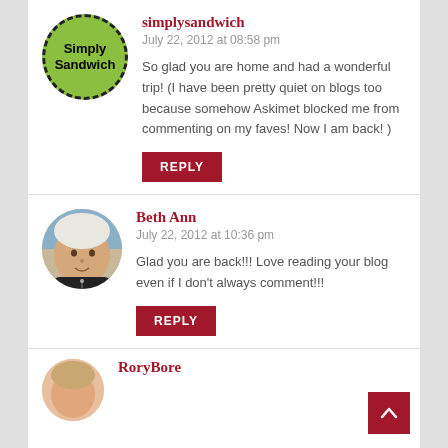simplysandwich
July 22, 2012 at 08:58 pm
So glad you are home and had a wonderful trip! (I have been pretty quiet on blogs too because somehow Askimet blocked me from commenting on my faves! Now I am back! )
REPLY
Beth Ann
July 22, 2012 at 10:36 pm
Glad you are back!!! Love reading your blog even if I don't always comment!!!
REPLY
RoryBore